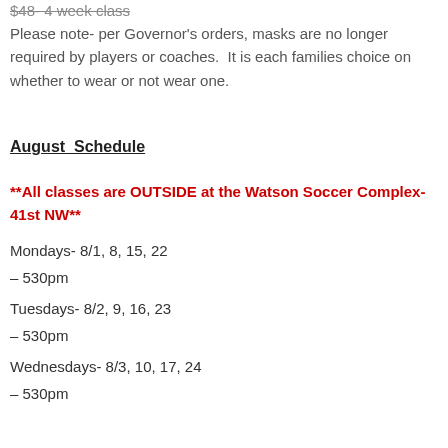$48- 4 week class
Please note- per Governor's orders, masks are no longer required by players or coaches.  It is each families choice on whether to wear or not wear one.
August  Schedule
**All classes are OUTSIDE at the Watson Soccer Complex- 41st NW**
Mondays- 8/1, 8, 15, 22
– 530pm
Tuesdays- 8/2, 9, 16, 23
– 530pm
Wednesdays- 8/3, 10, 17, 24
– 530pm